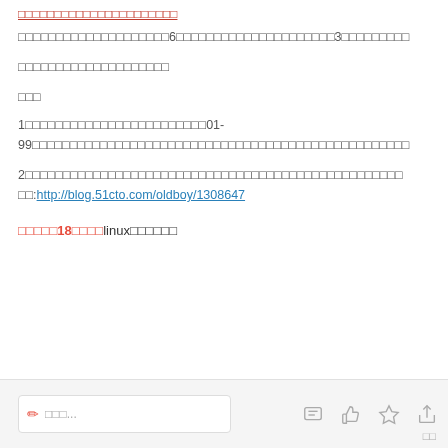（红链接标题）
（正文）每天练习书写，每周至少6次，每次练习时间不少于3个小时以上。
（说明）请仔细阅读以下练习要求。
练习
1、（练习内容说明）每次练习编号从01-99，（练习方法及注意事项详细说明）（说明文字）
2、（练习内容说明）（相关链接描述）（详细说明）
参考:http://blog.51cto.com/oldboy/1308647
老男孩第18期linux实战培训
（评论输入框）评论...
评论 点赞 收藏 分享 回